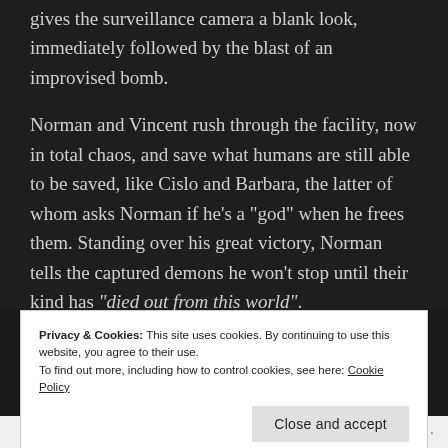gives the surveillance camera a blank look, immediately followed by the blast of an improvised bomb.
Norman and Vincent rush through the facility, now in total chaos, and save what humans are still able to be saved, like Cislo and Barbara, the latter of whom asks Norman if he's a “god” when he frees them. Standing over his great victory, Norman tells the captured demons he won’t stop until their kind has “died out from this world”.
Privacy & Cookies: This site uses cookies. By continuing to use this website, you agree to their use.
To find out more, including how to control cookies, see here: Cookie Policy
Close and accept
Follow